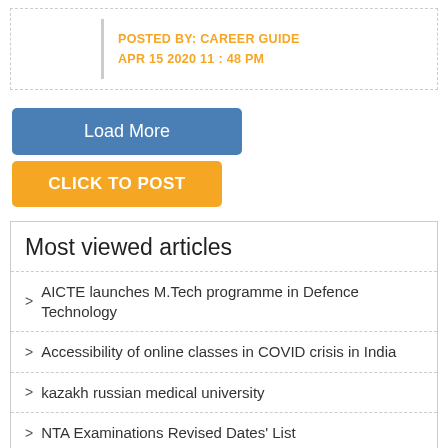POSTED BY: CAREER GUIDE
APR 15 2020 11 : 48 PM
Load More
CLICK TO POST
Most viewed articles
AICTE launches M.Tech programme in Defence Technology
Accessibility of online classes in COVID crisis in India
kazakh russian medical university
NTA Examinations Revised Dates' List
NATA 2020 is scheduled for August
Common questions about CBSE Class X & XII Exams 2020
How to make better use of long holidays for exam preparation